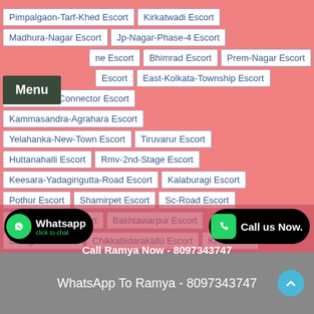Pimpalgaon-Tarf-Khed Escort
Kirkatwadi Escort
Madhura-Nagar Escort
Jp-Nagar-Phase-4 Escort
ne Escort
Bhimrad Escort
Prem-Nagar Escort
Escort
East-Kolkata-Township Escort
Em-Bypass-Connector Escort
Kammasandra-Agrahara Escort
Yelahanka-New-Town Escort
Tiruvarur Escort
Huttanahalli Escort
Rmv-2nd-Stage Escort
Keesara-Yadagirigutta-Road Escort
Kalaburagi Escort
Pothur Escort
Shamirpet Escort
Sc-Road Escort
Subhash-Marg Escort
Bakhtawarpur Escort
Lallaguda Escort
Chikkabidarakallu Escort
Kim Escort
Call Ramya Now - 8097343747
WhatsApp To Ramya - 8097343747